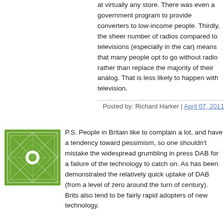at virtually any store. There was even a government program to provide converters to low-income people. Thirdly, the sheer number of radios compared to televisions (especially in the car) means that many people opt to go without radio rather than replace the majority of their analog. That is less likely to happen with television.
Posted by: Richard Harker | April 07, 2011
[Figure (illustration): Green geometric decorative square avatar icon with diamond/star pattern]
P.S. People in Britain like to complain a lot, and have a tendency toward pessimism, so one shouldn't mistake the widespread grumbling in press DAB for a failure of the technology to catch on. As has been demonstrated the relatively quick uptake of DAB (from a level of zero around the turn of century). Brits also tend to be fairly rapid adopters of new technology.
Posted by: Mark O. | April 07, 2011
[Figure (illustration): Green geometric decorative square avatar icon with diamond/star pattern]
DAB listening in Britain is due to increase significantly over the next years because: (1) the automobile market leader, Ford, is making DAB in cars standard with the 2012 model year, with other manufacturers to follow by 2013, and (2) the current rollout in Britain of new, more useful DAB+ technology will clear up uncertainties which have recently constrained growth in this sector. I live in Britain, and my wife and I haven't listened to analog (FM/AM) service since 2001, when we had our first DAB tuner installed in our car and our home. Since then, all of our listening has